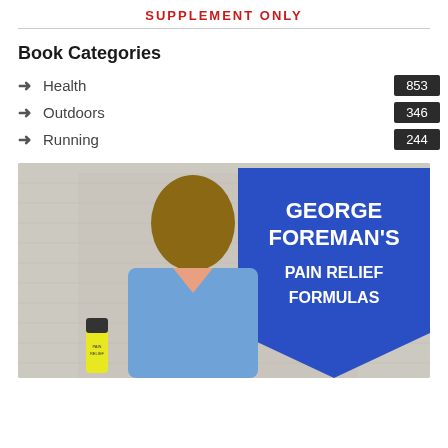SUPPLEMENT ONLY
Book Categories
Health 853
Outdoors 346
Running 244
[Figure (photo): George Foreman's Pain Relief Formulas advertisement showing George Foreman in a blue jacket with a product tube, with a blue shield/banner graphic reading GEORGE FOREMAN'S PAIN RELIEF FORMULAS]